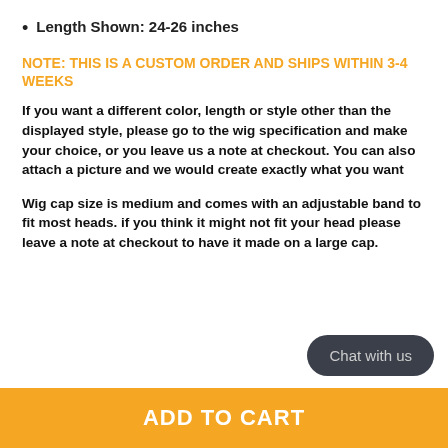Length Shown: 24-26 inches
NOTE: THIS IS A CUSTOM ORDER AND SHIPS WITHIN 3-4 WEEKS
If you want a different color, length or style other than the displayed style, please go to the wig specification and make your choice, or you leave us a note at checkout. You can also attach a picture and we would create exactly what you want
Wig cap size is medium and comes with an adjustable band to fit most heads. if you think it might not fit your head please leave a note at checkout to have it made on a large cap.
ADD TO CART